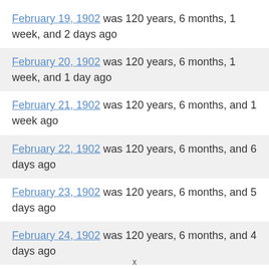February 19, 1902 was 120 years, 6 months, 1 week, and 2 days ago
February 20, 1902 was 120 years, 6 months, 1 week, and 1 day ago
February 21, 1902 was 120 years, 6 months, and 1 week ago
February 22, 1902 was 120 years, 6 months, and 6 days ago
February 23, 1902 was 120 years, 6 months, and 5 days ago
February 24, 1902 was 120 years, 6 months, and 4 days ago
February 25, 1902 was 120 years, 6 months, and 3 days ago